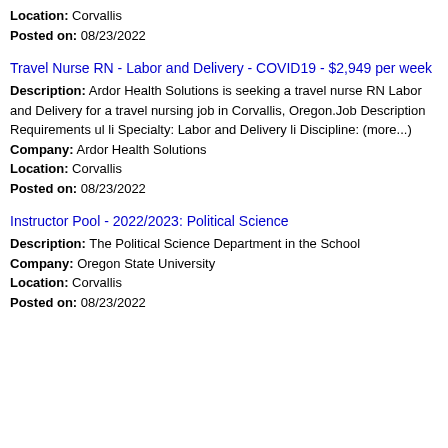Location: Corvallis
Posted on: 08/23/2022
Travel Nurse RN - Labor and Delivery - COVID19 - $2,949 per week
Description: Ardor Health Solutions is seeking a travel nurse RN Labor and Delivery for a travel nursing job in Corvallis, Oregon.Job Description Requirements ul li Specialty: Labor and Delivery li Discipline: (more...)
Company: Ardor Health Solutions
Location: Corvallis
Posted on: 08/23/2022
Instructor Pool - 2022/2023: Political Science
Description: The Political Science Department in the School
Company: Oregon State University
Location: Corvallis
Posted on: 08/23/2022